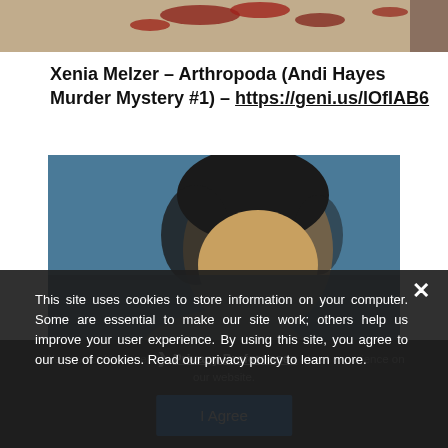[Figure (photo): Partial top image showing red splatters on a surface, cropped at top of page]
Xenia Melzer – Arthropoda (Andi Hayes Murder Mystery #1) – https://geni.us/lOfIAB6
[Figure (photo): Close-up photo of a young man with dark hair, short fade haircut, looking downward, blue background]
This site uses cookies to store information on your computer. Some are essential to make our site work; others help us improve your user experience. By using this site, you agree to our use of cookies. Read our privacy policy to learn more.
We use cookies to ensure you get the best experience on our website.
Privacy Preferences
I Agree